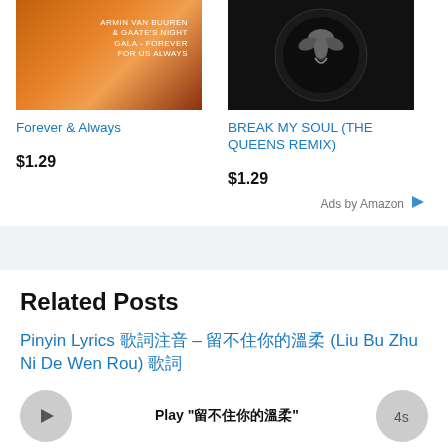[Figure (photo): Album art for Forever & Always — orange/fire gradient with text overlay]
[Figure (photo): Album art for BREAK MY SOUL (THE QUEENS REMIX) — black vinyl record with figure silhouette]
Forever & Always
BREAK MY SOUL (THE QUEENS REMIX)
$1.29
$1.29
Ads by Amazon
Related Posts
Pinyin Lyrics 歌詞注音 – 留不住你的溫柔 (Liu Bu Zhu Ni De Wen Rou) 歌詞
Play "留不住你的溫柔"